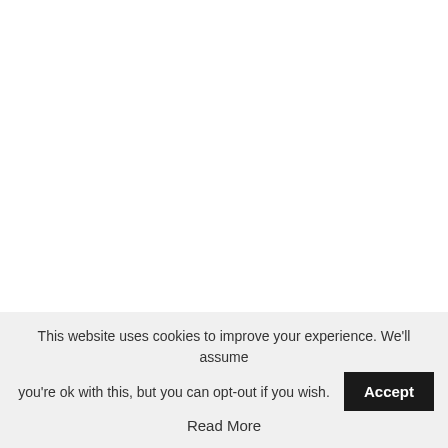The star completed the look with earrings and a stack of bracelets, while wearing her hair down and straight
This website uses cookies to improve your experience. We'll assume you're ok with this, but you can opt-out if you wish. Accept
Read More